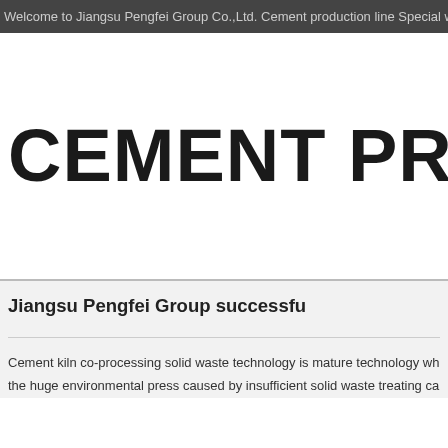Welcome to Jiangsu Pengfei Group Co.,Ltd. Cement production line Special website
CEMENT PRODUC
Jiangsu Pengfei Group successfu
Cement kiln co-processing solid waste technology is mature technology which us
the huge environmental press caused by insufficient solid waste treating capacity